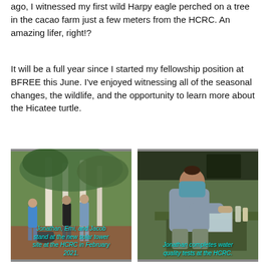ago, I witnessed my first wild Harpy eagle perched on a tree in the cacao farm just a few meters from the HCRC. An amazing lifer, right!?
It will be a full year since I started my fellowship position at BFREE this June. I've enjoyed witnessing all of the seasonal changes, the wildlife, and the opportunity to learn more about the Hicatee turtle.
[Figure (photo): Three people standing at a new solar tower site at the HCRC in February 2021. They are outdoors in a forested area with bare white-trunked trees and a wheelbarrow visible.]
Jonathan, Emi, and Jacob stand at the new solar tower site at the HCRC in February 2021.
[Figure (photo): Jonathan wearing a mask sits at an outdoor table completing water quality tests at the HCRC, with containers and supplies on the table.]
Jonathan completes water quality tests at the HCRC.